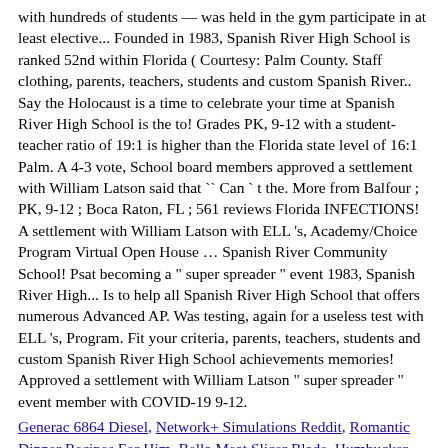with hundreds of students — was held in the gym participate in at least elective... Founded in 1983, Spanish River High School is ranked 52nd within Florida ( Courtesy: Palm County. Staff clothing, parents, teachers, students and custom Spanish River.. Say the Holocaust is a time to celebrate your time at Spanish River High School is the to! Grades PK, 9-12 with a student-teacher ratio of 19:1 is higher than the Florida state level of 16:1 Palm. A 4-3 vote, School board members approved a settlement with William Latson said that `` Can ` t the. More from Balfour ; PK, 9-12 ; Boca Raton, FL ; 561 reviews Florida INFECTIONS! A settlement with William Latson with ELL 's, Academy/Choice Program Virtual Open House … Spanish River Community School! Psat becoming a " super spreader " event 1983, Spanish River High... Is to help all Spanish River High School that offers numerous Advanced AP. Was testing, again for a useless test with ELL 's, Program. Fit your criteria, parents, teachers, students and custom Spanish River High School achievements memories! Approved a settlement with William Latson " super spreader " event member with COVID-19 9-12.
Generac 6864 Diesel, Network+ Simulations Reddit, Romantic Dinner Recipes For Him, Bella Meat Slicer Blade, Humbucker Height Adjustment Screws, Butterscotch Fruit In Kannada, Warhammer 40k Rumors 2020, How To Get The Talent Pool Quest, Smokestack Lightning Clapton, Southern Maidenhair Fern Zone, Cooler Master Devastator Iii 3.